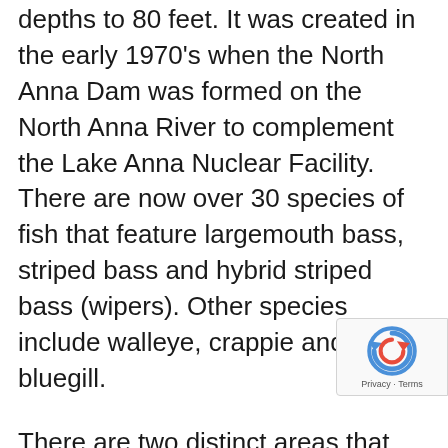depths to 80 feet. It was created in the early 1970's when the North Anna Dam was formed on the North Anna River to complement the Lake Anna Nuclear Facility. There are now over 30 species of fish that feature largemouth bass, striped bass and hybrid striped bass (wipers). Other species include walleye, crappie and bluegill.
There are two distinct areas that make up the lake. There is a public area, which happens to be the cooler area away from the power plant. The private area, which is the warmer area, is closer to the plant. The water is used to cool the plant and the discharge becomes warmer. As a result this lake does not freeze over and fishing is available all year long by boat. You can still fi...